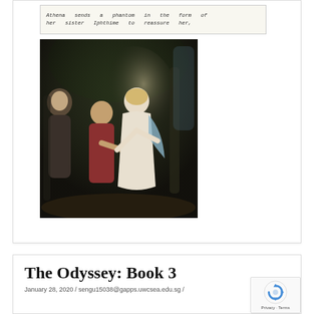[Figure (other): Handwritten note reading: 'Athena sends a phantom in the form of her sister Iphthime to reassure her.']
[Figure (photo): Classical painting depicting a scene from The Odyssey — a woman in a white dress (possibly a phantom or goddess) extending her hand toward a man in ancient Greek attire, with a cloaked figure in the background, set in a dark forested or cave-like environment.]
The Odyssey: Book 3
January 28, 2020 / sengu15038@gapps.uwcsea.edu.sg /